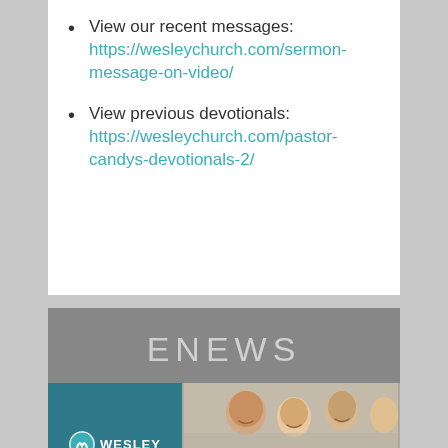View our recent messages: https://wesleychurch.com/sermon-message-on-video/
View previous devotionals: https://wesleychurch.com/pastor-candys-devotionals-2/
ENEWS
[Figure (photo): Photo strip showing Wesley Church logo on teal background on the left, and a group of smiling people on the right]